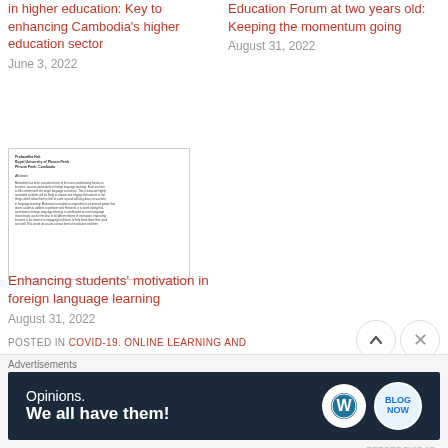in higher education: Key to enhancing Cambodia's higher education sector
June 3, 2022
Education Forum at two years old: Keeping the momentum going
August 31, 2022
[Figure (other): Thumbnail preview of academic paper document]
Enhancing students' motivation in foreign language learning
August 31, 2022
POSTED IN COVID-19. ONLINE LEARNING AND
[Figure (other): Advertisement: Opinions. We all have them! with WordPress and blog logos on dark navy background]